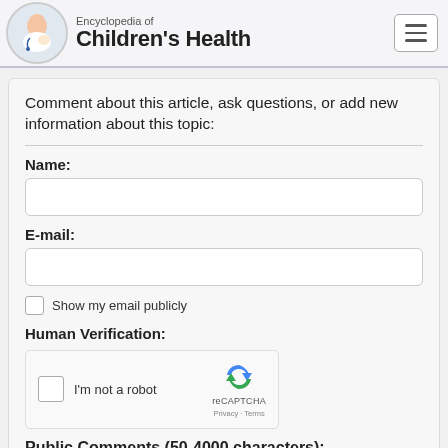Encyclopedia of Children's Health
Comment about this article, ask questions, or add new information about this topic:
Name:
E-mail:
Show my email publicly
Human Verification:
[Figure (screenshot): reCAPTCHA widget with checkbox labeled I'm not a robot, reCAPTCHA logo, Privacy and Terms links]
Public Comments (50-4000 characters):